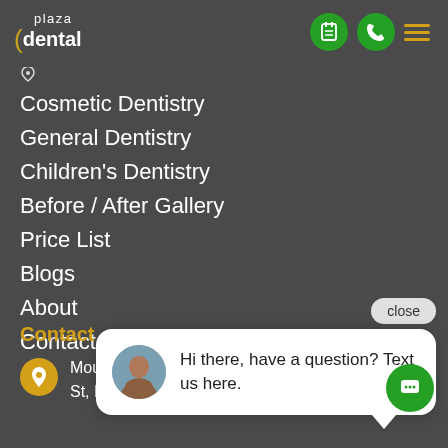[Figure (logo): Plaza Dental logo with stylized parenthesis and text]
Cosmetic Dentistry
General Dentistry
Children's Dentistry
Before / After Gallery
Price List
Blogs
About
Contact Us
[Figure (screenshot): Chat popup with avatar and text: Hi there, have a question? Text us here.]
Contact
Mount Pleasant Plaza, Suite 15/73 Phillip St, Mount Pleasant QLD 4740, Australia